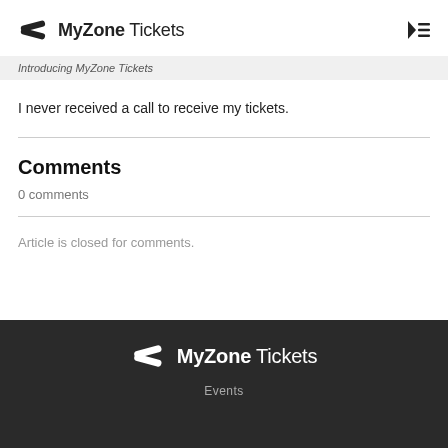MyZone Tickets
Introducing MyZone Tickets
I never received a call to receive my tickets.
Comments
0 comments
Article is closed for comments.
MyZone Tickets Events